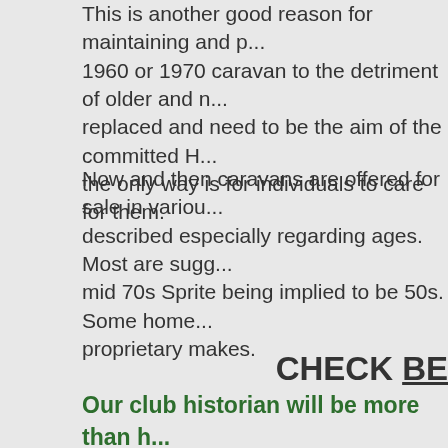This is another good reason for maintaining and p... 1960 or 1970 caravan to the detriment of older and r... replaced and need to be the aim of the committed H... the only way is for individuals to care for them.
Now and then caravans are offered for sale in variou... described especially regarding ages. Most are sugg... mid 70s Sprite being implied to be 50s. Some home... proprietary makes.
CHECK BE...
Our club historian will be more than h... buying a classic or historic caravan. It... good to have the circuit flooded by fal...
You can email our historian her... telephone (number in Wander...